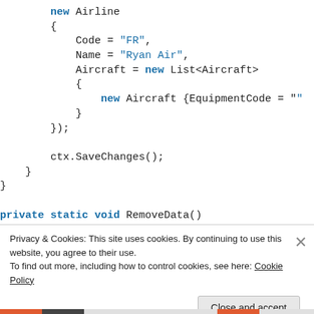new Airline
{
    Code = "FR",
    Name = "Ryan Air",
    Aircraft = new List<Aircraft>
    {
        new Aircraft {EquipmentCode = "
    }
});

ctx.SaveChanges();
}
}

private static void RemoveData()
{
    using (var ctx = new AirTravelContext()
Privacy & Cookies: This site uses cookies. By continuing to use this website, you agree to their use.
To find out more, including how to control cookies, see here: Cookie Policy